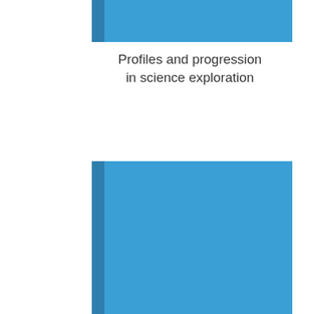[Figure (other): Horizontal blue banner/bar at the top of the page, spanning most of the width, with a darker blue vertical strip on the left side]
Profiles and progression in science exploration
[Figure (other): Large vertical blue rectangle in the lower half of the page, with a darker blue vertical strip along the left edge, resembling a book cover or panel]